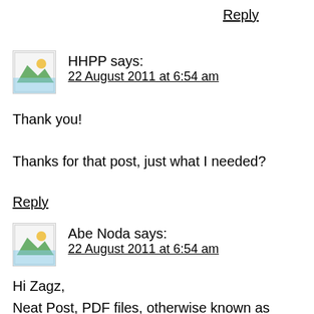Reply
HHPP says:
22 August 2011 at 6:54 am
Thank you!
Thanks for that post, just what I needed?
Reply
Abe Noda says:
22 August 2011 at 6:54 am
Hi Zagz,
Neat Post, PDF files, otherwise known as Portable Document Format files, are popularly used nowadays. With industries